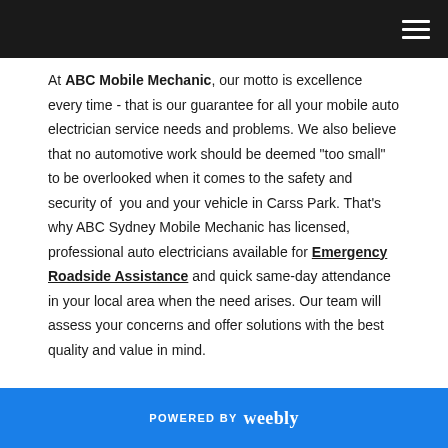ABC Mobile Mechanic – navigation header
At ABC Mobile Mechanic, our motto is excellence every time - that is our guarantee for all your mobile auto electrician service needs and problems. We also believe that no automotive work should be deemed "too small" to be overlooked when it comes to the safety and security of you and your vehicle in Carss Park. That's why ABC Sydney Mobile Mechanic has licensed, professional auto electricians available for Emergency Roadside Assistance and quick same-day attendance in your local area when the need arises. Our team will assess your concerns and offer solutions with the best quality and value in mind.
POWERED BY weebly